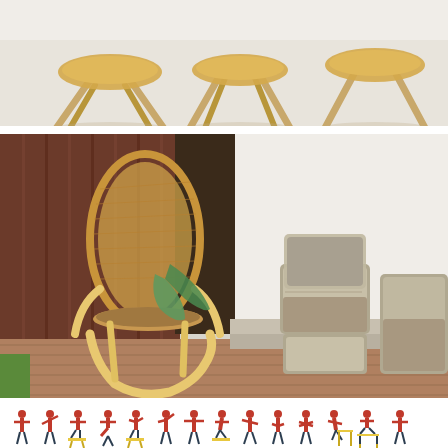[Figure (photo): Wooden furniture set with light natural wood side tables/stools on a light grey floor background, top-down cropped view.]
[Figure (photo): A rattan/cane bentwood rocking chair with a green plaid blanket draped over it, positioned on a brick patio outdoors. To the right is a grey wicker/rattan outdoor sofa set with grey cushions against a white wall.]
[Figure (illustration): A row of small cartoon/icon illustrations showing a person (wearing red top and dark pants) demonstrating various exercises or postures — including standing, sitting on a stool, sitting on a chair, and leaning on a table. The figures use red and yellow colors. Partially cut off at the bottom.]